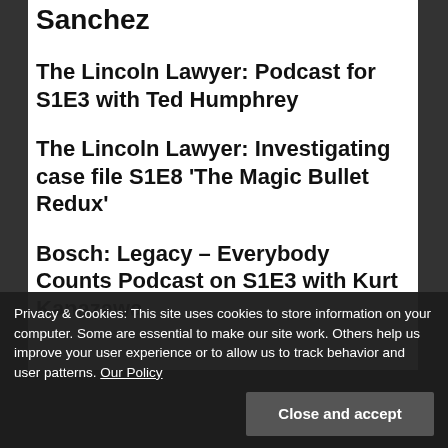Sanchez
The Lincoln Lawyer: Podcast for S1E3 with Ted Humphrey
The Lincoln Lawyer: Investigating case file S1E8 ‘The Magic Bullet Redux’
Bosch: Legacy – Everybody Counts Podcast on S1E3 with Kurt Kanazawa
Privacy & Cookies: This site uses cookies to store information on your computer. Some are essential to make our site work. Others help us improve your user experience or to allow us to track behavior and user patterns. Our Policy
Close and accept